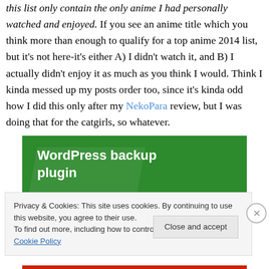this list only contain the only anime I had personally watched and enjoyed. If you see an anime title which you think more than enough to qualify for a top anime 2014 list, but it's not here-it's either A) I didn't watch it, and B) I actually didn't enjoy it as much as you think I would. Think I kinda messed up my posts order too, since it's kinda odd how I did this only after my NekoPara review, but I was doing that for the catgirls, so whatever.
[Figure (other): WordPress backup plugin advertisement banner with green background and white bold text]
Privacy & Cookies: This site uses cookies. By continuing to use this website, you agree to their use.
To find out more, including how to control cookies, see here: Cookie Policy